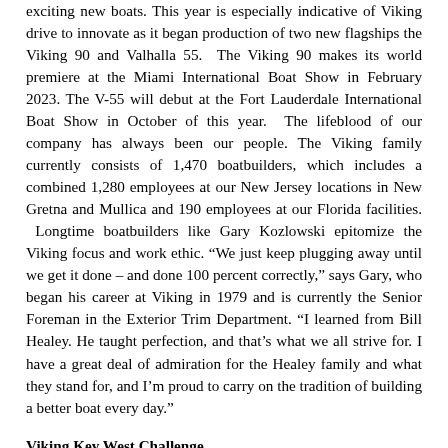exciting new boats. This year is especially indicative of Viking drive to innovate as it began production of two new flagships the Viking 90 and Valhalla 55. The Viking 90 makes its world premiere at the Miami International Boat Show in February 2023. The V-55 will debut at the Fort Lauderdale International Boat Show in October of this year. The lifeblood of our company has always been our people. The Viking family currently consists of 1,470 boatbuilders, which includes a combined 1,280 employees at our New Jersey locations in New Gretna and Mullica and 190 employees at our Florida facilities. Longtime boatbuilders like Gary Kozlowski epitomize the Viking focus and work ethic. “We just keep plugging away until we get it done – and done 100 percent correctly,” says Gary, who began his career at Viking in 1979 and is currently the Senior Foreman in the Exterior Trim Department. “I learned from Bill Healey. He taught perfection, and that’s what we all strive for. I have a great deal of admiration for the Healey family and what they stand for, and I’m proud to carry on the tradition of building a better boat every day.”
Viking Key West Challenge